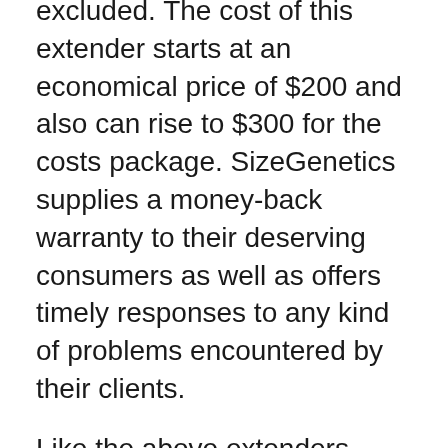excluded. The cost of this extender starts at an economical price of $200 and also can rise to $300 for the costs package. SizeGenetics supplies a money-back warranty to their deserving consumers as well as offers timely responses to any kind of problems encountered by their clients.
Like the above extenders, SizeGenetics have a significant number of endorsements, providing you a quote of its success price. With real-time conversation assistance, SizeGenetics ensures all your questions are responded to at a look.
Penis extenders have actually unlocked brand-new gateways in the field of medical science. They comply with the grip method that delivers outstanding results in the